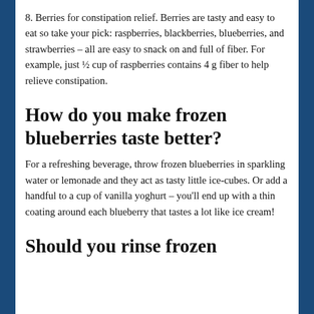8. Berries for constipation relief. Berries are tasty and easy to eat so take your pick: raspberries, blackberries, blueberries, and strawberries – all are easy to snack on and full of fiber. For example, just ½ cup of raspberries contains 4 g fiber to help relieve constipation.
How do you make frozen blueberries taste better?
For a refreshing beverage, throw frozen blueberries in sparkling water or lemonade and they act as tasty little ice-cubes. Or add a handful to a cup of vanilla yoghurt – you'll end up with a thin coating around each blueberry that tastes a lot like ice cream!
Should you rinse frozen